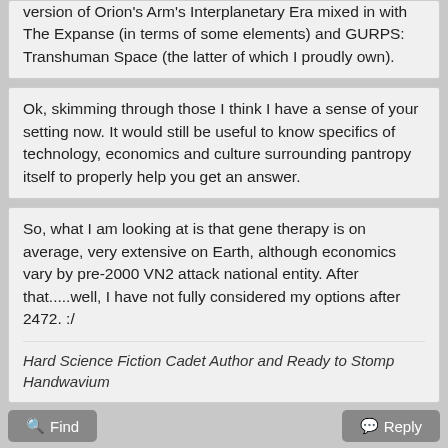version of Orion's Arm's Interplanetary Era mixed in with The Expanse (in terms of some elements) and GURPS: Transhuman Space (the latter of which I proudly own).
Ok, skimming through those I think I have a sense of your setting now. It would still be useful to know specifics of technology, economics and culture surrounding pantropy itself to properly help you get an answer.
So, what I am looking at is that gene therapy is on average, very extensive on Earth, although economics vary by pre-2000 VN2 attack national entity. After that.....well, I have not fully considered my options after 2472. :/
Hard Science Fiction Cadet Author and Ready to Stomp Handwavium